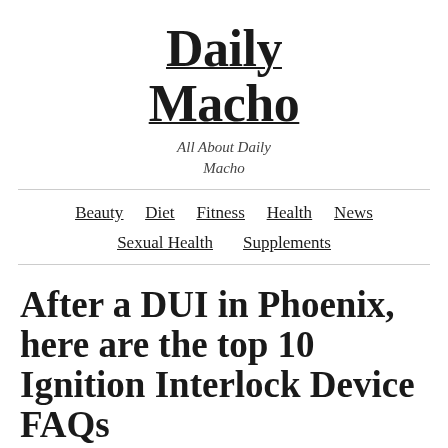Daily Macho
All About Daily Macho
Beauty   Diet   Fitness   Health   News   Sexual Health   Supplements
After a DUI in Phoenix, here are the top 10 Ignition Interlock Device FAQs